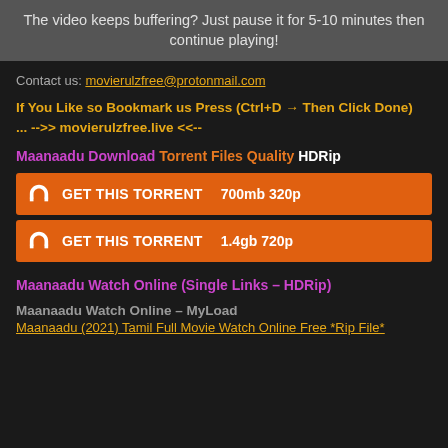The video keeps buffering? Just pause it for 5-10 minutes then continue playing!
Contact us: movierulzfree@protonmail.com
If You Like so Bookmark us Press (Ctrl+D → Then Click Done) ... -->> movierulzfree.live <<--
Maanaadu Download Torrent Files Quality HDRip
GET THIS TORRENT  700mb 320p
GET THIS TORRENT  1.4gb 720p
Maanaadu Watch Online (Single Links – HDRip)
Maanaadu Watch Online – MyLoad
Maanaadu (2021) Tamil Full Movie Watch Online Free *Rip File*